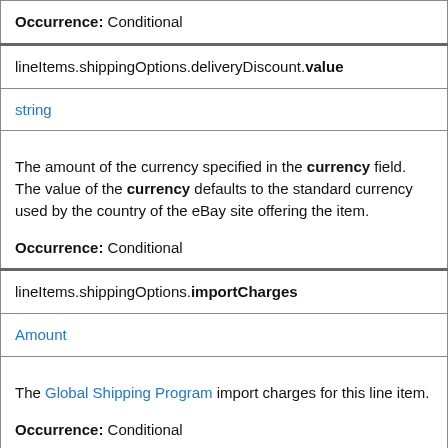Occurrence: Conditional
lineItems.shippingOptions.deliveryDiscount.value
string
The amount of the currency specified in the currency field. The value of the currency defaults to the standard currency used by the country of the eBay site offering the item.

Occurrence: Conditional
lineItems.shippingOptions.importCharges
Amount
The Global Shipping Program import charges for this line item.

Occurrence: Conditional
lineItems.shippingOptions.importCharges.currency